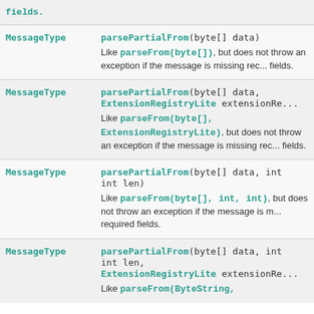| Return Type | Method and Description |
| --- | --- |
| MessageType | parsePartialFrom(byte[] data)
Like parseFrom(byte[]), but does not throw an exception if the message is missing required fields. |
| MessageType | parsePartialFrom(byte[] data, ExtensionRegistryLite extensionRe...
Like parseFrom(byte[], ExtensionRegistryLite), but does not throw an exception if the message is missing required fields. |
| MessageType | parsePartialFrom(byte[] data, int offset, int len)
Like parseFrom(byte[], int, int), but does not throw an exception if the message is missing required fields. |
| MessageType | parsePartialFrom(byte[] data, int offset, int len, ExtensionRegistryLite extensionRe...
Like parseFrom(ByteString, ... |